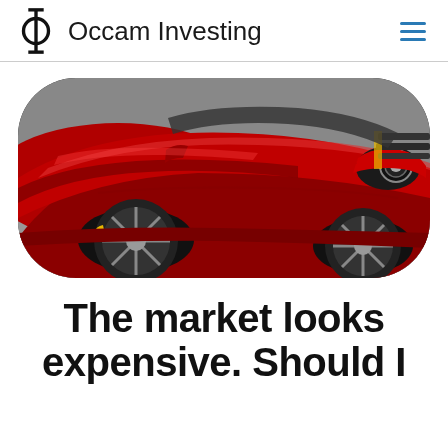Occam Investing
[Figure (photo): Close-up photo of a red Ferrari sports car, showing the front hood, headlight, and wheel, with rounded rectangle crop]
The market looks expensive. Should I